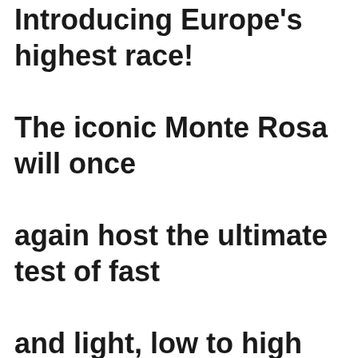Introducing Europe's highest race! The iconic Monte Rosa will once again host the ultimate test of fast and light, low to high and back again, a true race in the SKY! Celebrating 25-years of Skyrunning, the race returns to the Italian Alps